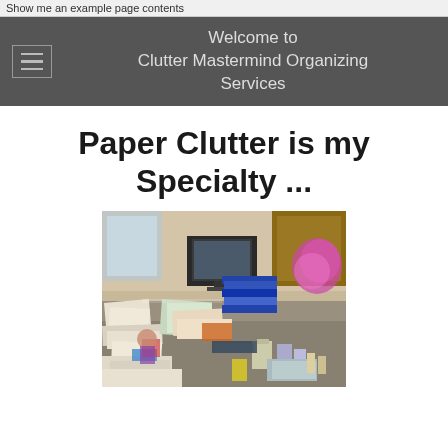Show me an example page contents
Welcome to
Clutter Mastermind Organizing Services
Paper Clutter is my Specialty ...
[Figure (photo): A very cluttered desk covered with papers, computer monitor, various items, toys, containers, and miscellaneous objects in disarray]